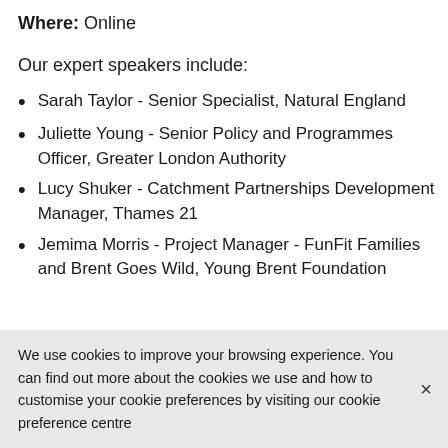Where: Online
Our expert speakers include:
Sarah Taylor - Senior Specialist, Natural England
Juliette Young - Senior Policy and Programmes Officer, Greater London Authority
Lucy Shuker - Catchment Partnerships Development Manager, Thames 21
Jemima Morris - Project Manager - FunFit Families and Brent Goes Wild, Young Brent Foundation
We use cookies to improve your browsing experience. You can find out more about the cookies we use and how to customise your cookie preferences by visiting our cookie preference centre